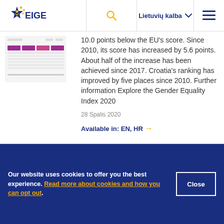EIGE — Lietuvių kalba navigation header
[Figure (screenshot): Thumbnail preview of a document page with purple/pink table headers]
10.0 points below the EU's score. Since 2010, its score has increased by 5.6 points. About half of the increase has been achieved since 2017. Croatia's ranking has improved by five places since 2010. Further information Explore the Gender Equality Index 2020
28 Spalis 2020
Available in: EN, HR →
Our website uses cookies to offer you the best experience. Read more about cookies and how you can opt out.